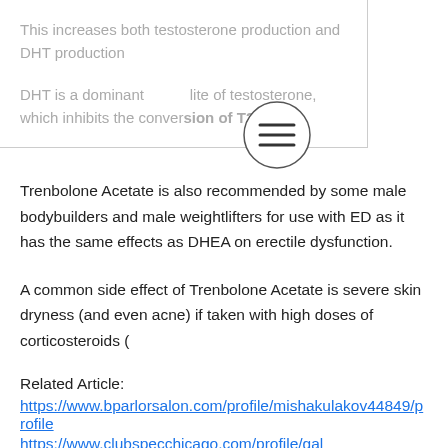This increases both testosterone production and DHT production
DHT is a dominant metabolite of testosterone, which inhibits the conversion of T2 to T1
Trenbolone Acetate is also recommended by some male bodybuilders and male weightlifters for use with ED as it has the same effects as DHEA on erectile dysfunction.
A common side effect of Trenbolone Acetate is severe skin dryness (and even acne) if taken with high doses of corticosteroids (
Related Article:
https://www.bparlorsalon.com/profile/mishakulakov44849/profile
https://www.clubspecchicago.com/profile/gal